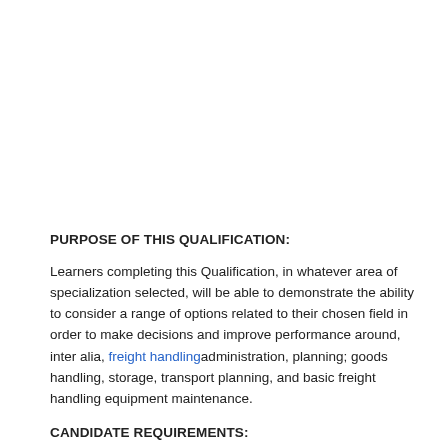PURPOSE OF THIS QUALIFICATION:
Learners completing this Qualification, in whatever area of specialization selected, will be able to demonstrate the ability to consider a range of options related to their chosen field in order to make decisions and improve performance around, inter alia, freight handlingadministration, planning; goods handling, storage, transport planning, and basic freight handling equipment maintenance.
CANDIDATE REQUIREMENTS: